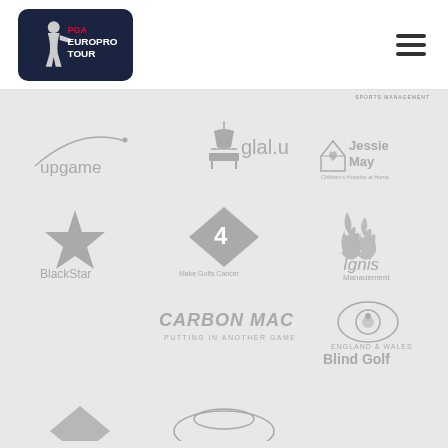[Figure (logo): PGA EuroPro Tour logo - dark navy rounded rectangle with golfer silhouette and text PGA EUROPRO TOUR]
[Figure (logo): Hamburger menu icon - three horizontal dark lines]
SPORTS MANAGEMENT
[Figure (logo): upgame logo - gray curved line arc with lowercase upgame text]
[Figure (logo): glal.uk logo - pendant light fixture icon with glal.uk text]
[Figure (logo): Jessie May Children's Hospice at Home logo - house with heart and smiling face]
[Figure (logo): BlackStar logo - gray five-pointed star with BlackStar text below]
[Figure (logo): Make Golf Cancer logo - number 4 in diamond shape with text Make Golfs Cancer below]
[Figure (logo): Ignis Management logo - flame icon with Ignis Management text]
[Figure (logo): Carbon Mac - PUTTING IN ANOTHER GAME text logo in gray]
[Figure (logo): England and Wales Blind Golf logo - eye icon with England & Wales Blind Golf text]
[Figure (logo): Partial logo bottom left - truncated]
[Figure (logo): Partial logo bottom center - truncated hat/helmet shape]